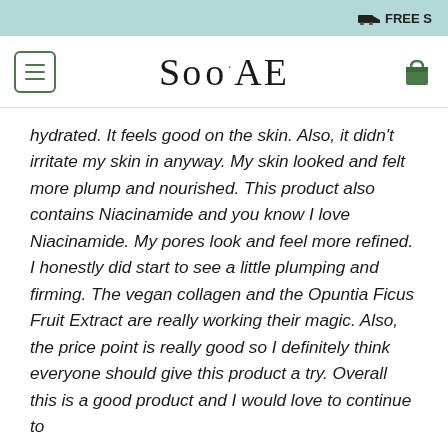FREE S (shipping banner)
[Figure (logo): SooAE brand logo with hamburger menu icon on left and shopping bag icon on right]
hydrated. It feels good on the skin. Also, it didn't irritate my skin in anyway. My skin looked and felt more plump and nourished. This product also contains Niacinamide and you know I love Niacinamide. My pores look and feel more refined. I honestly did start to see a little plumping and firming. The vegan collagen and the Opuntia Ficus Fruit Extract are really working their magic. Also, the price point is really good so I definitely think everyone should give this product a try. Overall this is a good product and I would love to continue to